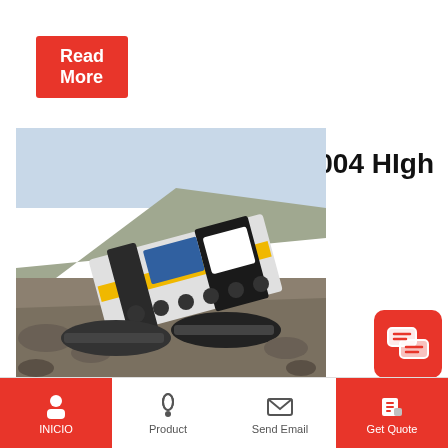Read More
2004 HIgh
[Figure (photo): Large industrial mobile crushing/screening machine on a construction or quarry site with rocky terrain and hillside in background]
Temperature Properties of BoF Slag In the
2017-2-6   High Temperature Properties of BOF Sla
Behaviour in the Blast Furnace Lena Sundqvist elu...
INICIO   Product   Send Email   Get Quote